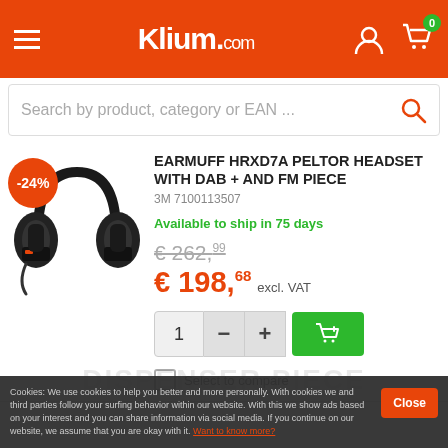Klium.com
Search by product, category or EAN ...
[Figure (photo): Black Peltor earmuff headset with DAB and FM receiver, shown from the front at a slight angle. An orange discount badge reading -24% overlays the top-left of the product image.]
EARMUFF HRXD7A PELTOR HEADSET WITH DAB + AND FM PIECE
3M 7100113507
Available to ship in 75 days
€ 262,99
€ 198,68 excl. VAT
Select to compare
Cookies: We use cookies to help you better and more personally. With cookies we and third parties follow your surfing behavior within our website. With this we show ads based on your interest and you can share information via social media. If you continue on our website, we assume that you are okay with it. Want to know more?